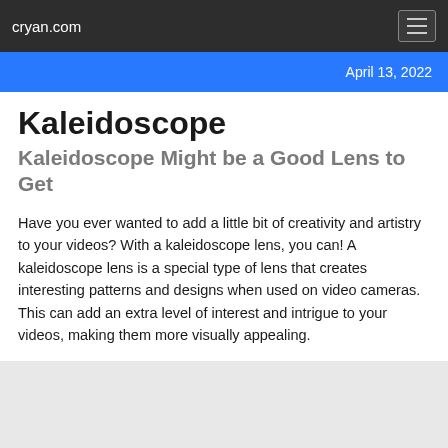cryan.com
April 13, 2022
Kaleidoscope
Kaleidoscope Might be a Good Lens to Get
Have you ever wanted to add a little bit of creativity and artistry to your videos? With a kaleidoscope lens, you can! A kaleidoscope lens is a special type of lens that creates interesting patterns and designs when used on video cameras. This can add an extra level of interest and intrigue to your videos, making them more visually appealing.